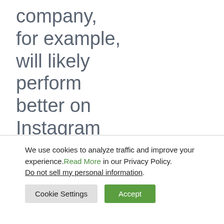company, for example, will likely perform better on Instagram than a niche software brand would.
We use cookies to analyze traffic and improve your experience. Read More in our Privacy Policy. Do not sell my personal information.